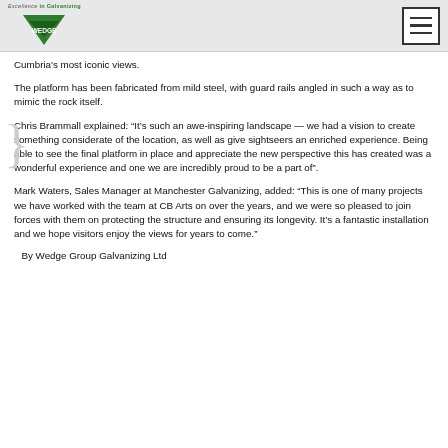Excellence in Galvanizing — WEDGE [logo + hamburger menu]
Cumbria's most iconic views.
The platform has been fabricated from mild steel, with guard rails angled in such a way as to mimic the rock itself.
Chris Brammall explained: “It’s such an awe-inspiring landscape — we had a vision to create something considerate of the location, as well as give sightseers an enriched experience. Being able to see the final platform in place and appreciate the new perspective this has created was a wonderful experience and one we are incredibly proud to be a part of”.
Mark Waters, Sales Manager at Manchester Galvanizing, added: “This is one of many projects we have worked with the team at CB Arts on over the years, and we were so pleased to join forces with them on protecting the structure and ensuring its longevity. It’s a fantastic installation and we hope visitors enjoy the views for years to come.”
By Wedge Group Galvanizing Ltd